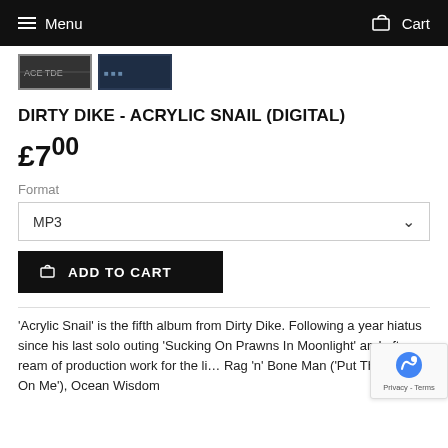Menu   Cart
[Figure (photo): Two small product thumbnail images of the album]
DIRTY DIKE - ACRYLIC SNAIL (DIGITAL)
£7.00
Format
MP3
ADD TO CART
'Acrylic Snail' is the fifth album from Dirty Dike. Following a year hiatus since his last solo outing 'Sucking On Prawns In Moonlight' and after a ream of production work for the likes of Rag 'n' Bone Man ('Put That Soul On Me'), Ocean Wisdom